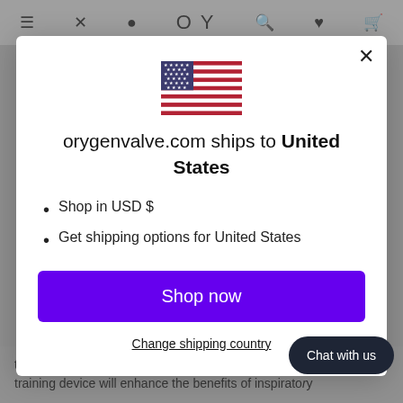Navigation bar icons (background)
[Figure (illustration): US flag icon centered in modal]
orygenvalve.com ships to United States
Shop in USD $
Get shipping options for United States
Shop now
Change shipping country
Chat with us
to five days each week. Regular use of an inspiratory training device will enhance the benefits of inspiratory